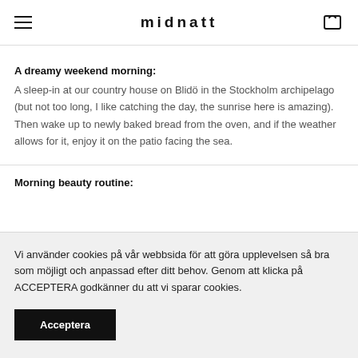midnatt
A dreamy weekend morning:
A sleep-in at our country house on Blidö in the Stockholm archipelago (but not too long, I like catching the day, the sunrise here is amazing). Then wake up to newly baked bread from the oven, and if the weather allows for it, enjoy it on the patio facing the sea.
Morning beauty routine:
Vi använder cookies på vår webbsida för att göra upplevelsen så bra som möjligt och anpassad efter ditt behov. Genom att klicka på ACCEPTERA godkänner du att vi sparar cookies.
Acceptera